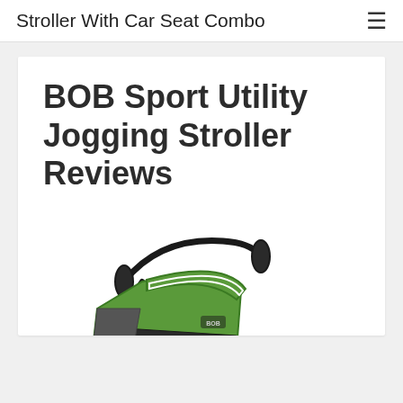Stroller With Car Seat Combo
BOB Sport Utility Jogging Stroller Reviews
[Figure (photo): Partial photo of a BOB Sport Utility Jogging Stroller, showing the handlebar, green and black frame, and seat area from a side-front angle.]